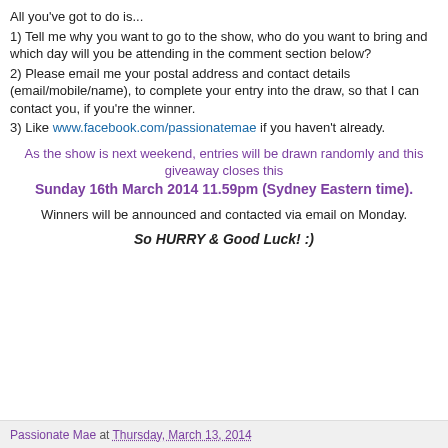All you've got to do is...
1) Tell me why you want to go to the show, who do you want to bring and which day will you be attending in the comment section below?
2) Please email me your postal address and contact details (email/mobile/name), to complete your entry into the draw, so that I can contact you, if you're the winner.
3) Like www.facebook.com/passionatemae if you haven't already.
As the show is next weekend, entries will be drawn randomly and this giveaway closes this Sunday 16th March 2014 11.59pm (Sydney Eastern time).
Winners will be announced and contacted via email on Monday.
So HURRY & Good Luck! :)
Passionate Mae at Thursday, March 13, 2014